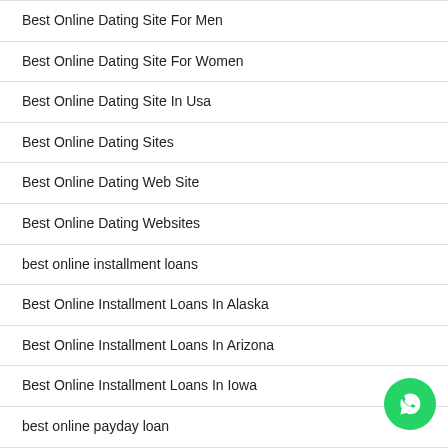Best Online Dating Site For Men
Best Online Dating Site For Women
Best Online Dating Site In Usa
Best Online Dating Sites
Best Online Dating Web Site
Best Online Dating Websites
best online installment loans
Best Online Installment Loans In Alaska
Best Online Installment Loans In Arizona
Best Online Installment Loans In Iowa
best online payday loan
best online payday loans